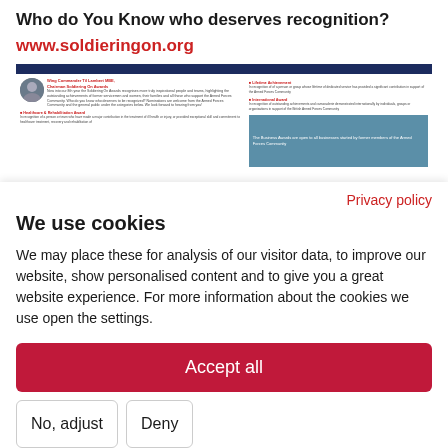Who do You Know who deserves recognition?
www.soldieringon.org
[Figure (screenshot): Screenshot of soldieringon.org website showing award categories including Healthcare & Rehabilitation Award, Lifetime Achievement, and International Award, with a person's photo and blue business awards section]
Privacy policy
We use cookies
We may place these for analysis of our visitor data, to improve our website, show personalised content and to give you a great website experience. For more information about the cookies we use open the settings.
Accept all
No, adjust
Deny